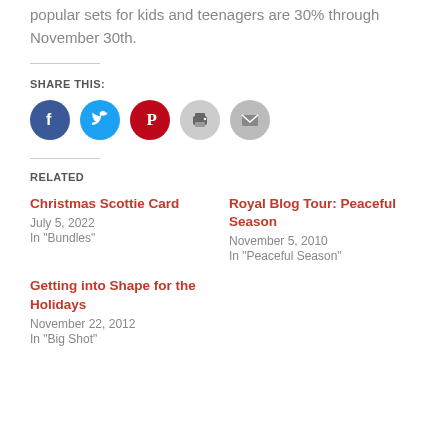popular sets for kids and teenagers are 30% through November 30th.
SHARE THIS:
[Figure (infographic): Social sharing icons: Facebook (blue), Twitter (light blue), Pinterest (red), Print (gray), Email (gray)]
RELATED
Christmas Scottie Card
July 5, 2022
In "Bundles"
Royal Blog Tour: Peaceful Season
November 5, 2010
In "Peaceful Season"
Getting into Shape for the Holidays
November 22, 2012
In "Big Shot"